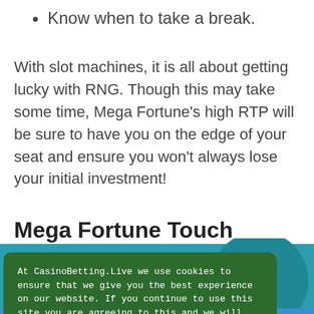Know when to take a break.
With slot machines, it is all about getting lucky with RNG. Though this may take some time, Mega Fortune’s high RTP will be sure to have you on the edge of your seat and ensure you won’t always lose your initial investment!
Mega Fortune Touch Available
[Figure (illustration): Teal background with a smartphone/mobile device illustration in teal and white tones]
At CasinoBetting.Live we use cookies to ensure that we give you the best experience on our website. If you continue to use this site you are agreeing to this and we will assume that you are happy with it.
OK